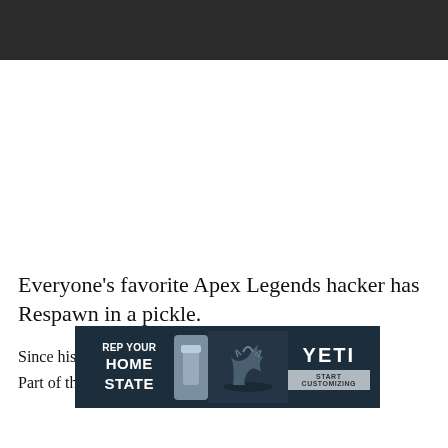Everyone's favorite Apex Legends hacker has Respawn in a pickle.
Since his character, Season 8's Surveillance Expert… [continues]. Part of that is a fan-made deep-lore...
[Figure (photo): Advertisement banner overlay: REP YOUR HOME STATE with YETI branding and START CUSTOMIZING button, dark navy background with tumbler cup and elk imagery]